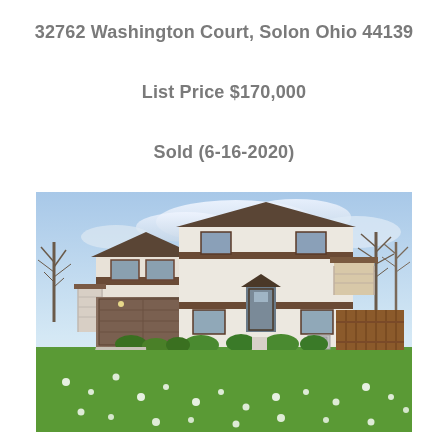32762 Washington Court, Solon Ohio 44139
List Price $170,000
Sold (6-16-2020)
[Figure (photo): Exterior photo of a two-story white house with brown trim, attached garage, front entry with arched roof, upper balcony, wood fence on right side, lush green lawn with white flowers in foreground, bare trees in background, cloudy blue sky.]